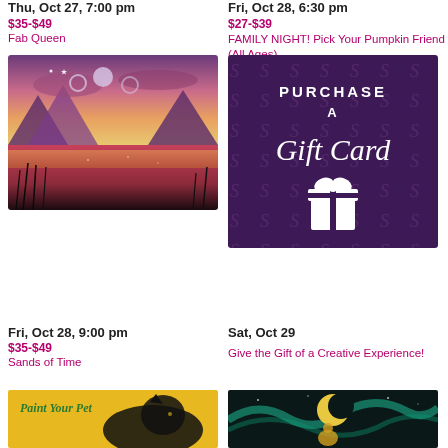Thu, Oct 27, 7:00 pm
$35-$49
Fab Queen
[Figure (illustration): Painting of a landscape with triple moons over purple mountains and a colorful marshland at sunset]
Fri, Oct 28, 6:30 pm
$27-$39
FAMILY NIGHT! Pick Your Pumpkin Friend (All Ages)
[Figure (illustration): Purple gift card promotion image with 'PURCHASE A Gift Card' text and a white gift box icon on dark purple background]
Fri, Oct 28, 9:00 pm
$35-$49
Sands of Time
[Figure (illustration): Painting with 'Paint Your Pet' text with a black cat/dog silhouette on yellow background]
Sat, Oct 29
Give the Gift of a Creative Experience!
[Figure (illustration): Dark painting with a crescent moon and teal aurora-like colours with a figure]